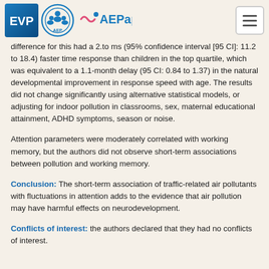EVP | AEP | AEPap [logos and navigation]
difference for this had a 2.to ms (95% confidence interval [95 CI]: 11.2 to 18.4) faster time response than children in the top quartile, which was equivalent to a 1.1-month delay (95 CI: 0.84 to 1.37) in the natural developmental improvement in response speed with age. The results did not change significantly using alternative statistical models, or adjusting for indoor pollution in classrooms, sex, maternal educational attainment, ADHD symptoms, season or noise.
Attention parameters were moderately correlated with working memory, but the authors did not observe short-term associations between pollution and working memory.
Conclusion: The short-term association of traffic-related air pollutants with fluctuations in attention adds to the evidence that air pollution may have harmful effects on neurodevelopment.
Conflicts of interest: the authors declared that they had no conflicts of interest.